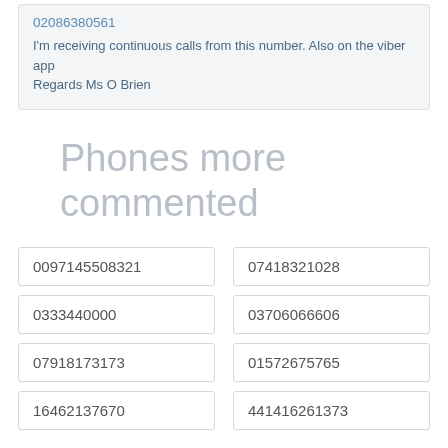02086380561
I'm receiving continuous calls from this number. Also on the viber app Regards Ms O Brien
Phones more commented
0097145508321
07418321028
0333440000
03706066606
07918173173
01572675765
16462137670
441416261373